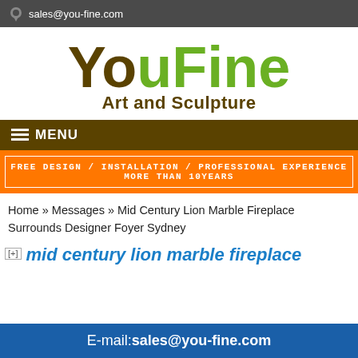sales@you-fine.com
[Figure (logo): YouFine Art and Sculpture logo with 'You' in dark brown, 'Fine' in green, and subtitle 'Art and Sculpture' in dark brown]
MENU
FREE DESIGN / INSTALLATION / PROFESSIONAL EXPERIENCE MORE THAN 10YEARS
Home » Messages » Mid Century Lion Marble Fireplace Surrounds Designer Foyer Sydney
mid century lion marble fireplace
E-mail:sales@you-fine.com